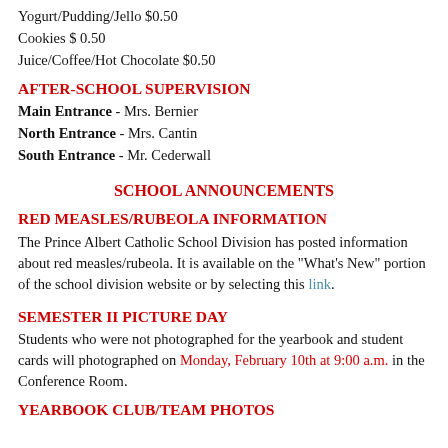Yogurt/Pudding/Jello $0.50
Cookies $ 0.50
Juice/Coffee/Hot Chocolate $0.50
AFTER-SCHOOL SUPERVISION
Main Entrance - Mrs. Bernier
North Entrance - Mrs. Cantin
South Entrance - Mr. Cederwall
SCHOOL ANNOUNCEMENTS
RED MEASLES/RUBEOLA INFORMATION
The Prince Albert Catholic School Division has posted information about red measles/rubeola. It is available on the "What's New" portion of the school division website or by selecting this link.
SEMESTER II PICTURE DAY
Students who were not photographed for the yearbook and student cards will photographed on Monday, February 10th at 9:00 a.m. in the Conference Room.
YEARBOOK CLUB/TEAM PHOTOS